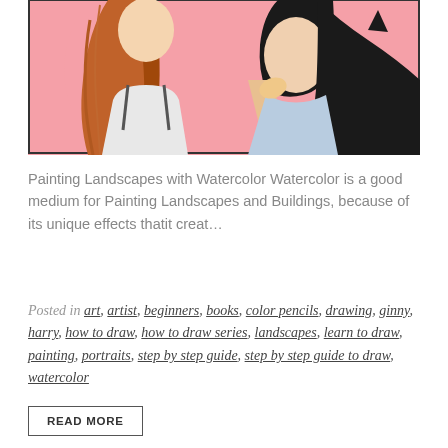[Figure (illustration): A painting of two people (a girl with red/brown hair and another figure with dark hair) against a pink heart-shaped background]
Painting Landscapes with Watercolor Watercolor is a good medium for Painting Landscapes and Buildings, because of its unique effects thatit creat...
Posted in art, artist, beginners, books, color pencils, drawing, ginny, harry, how to draw, how to draw series, landscapes, learn to draw, painting, portraits, step by step guide, step by step guide to draw, watercolor
READ MORE